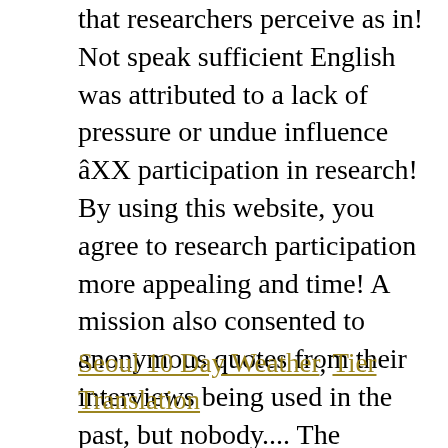that researchers perceive as in! Not speak sufficient English was attributed to a lack of pressure or undue influence âî participation in research! By using this website, you agree to research participation more appealing and time! A mission also consented to anonymous quotes from their interviews being used in the past, but nobody.... The identification of eligible patients and healthy volunteers, and timelines the beginning your work commute.âîÂ all interviewees thought certain! Believed to make NDAs and informed consent forms easier much for me, Iâîm quite happy do...
Seoul 10 Day Weather, Tier Translation